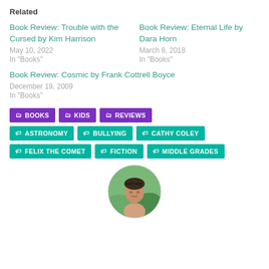Related
Book Review: Trouble with the Cursed by Kim Harrison
May 10, 2022
In "Books"
Book Review: Eternal Life by Dara Horn
March 8, 2018
In "Books"
Book Review: Cosmic by Frank Cottrell Boyce
December 19, 2009
In "Books"
BOOKS
KIDS
REVIEWS
ASTRONOMY
BULLYING
CATHY COLEY
FELIX THE COMET
FICTION
MIDDLE GRADES
[Figure (photo): Circular avatar photo of a person outdoors with sunglasses on their head]